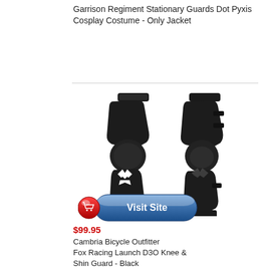Garrison Regiment Stationary Guards Dot Pyxis Cosplay Costume - Only Jacket
[Figure (photo): Two black knee and shin guards side by side — front view and back/side view — with Fox Racing logo on the front guard]
[Figure (illustration): Visit Site button with red shopping cart icon on left and blue rounded-rectangle button with white bold text 'Visit Site']
$99.95
Cambria Bicycle Outfitter Fox Racing Launch D3O Knee & Shin Guard - Black